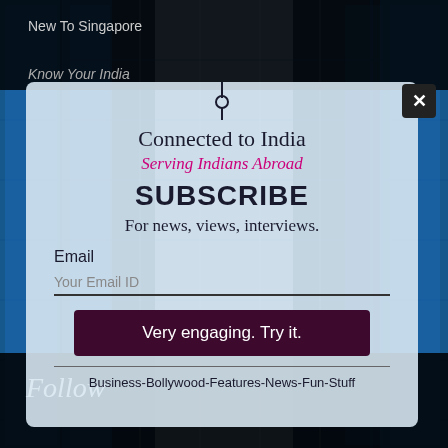New To Singapore
Know Your India
[Figure (screenshot): Subscribe modal popup overlay on a blue building/architecture background. Modal contains 'Connected to India', 'Serving Indians Abroad', 'SUBSCRIBE', 'For news, views, interviews.', an email input field, a dark button 'Very engaging. Try it.', and footer text 'Business-Bollywood-Features-News-Fun-Stuff'. A close X button is in the top right corner of the modal.]
Follow